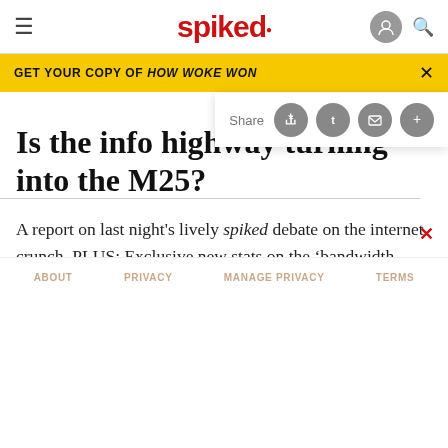spiked
GET YOUR COPY OF HOW WOKE WON
Is the info highway turning into the M25?
A report on last night's lively spiked debate on the internet crunch. PLUS: Exclusive new stats on the 'bandwidth famine'.
ABOUT   PRIVACY   MANAGE PRIVACY   TERMS